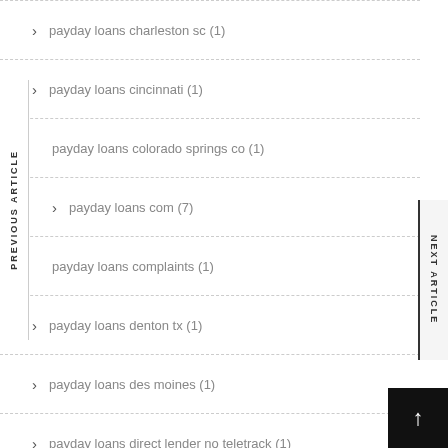payday loans charleston sc (1)
payday loans cincinnati (1)
payday loans colorado springs co (1)
payday loans com (7)
payday loans complaints (1)
payday loans denton tx (1)
payday loans des moines (1)
payday loans direct lender no teletrack (1)